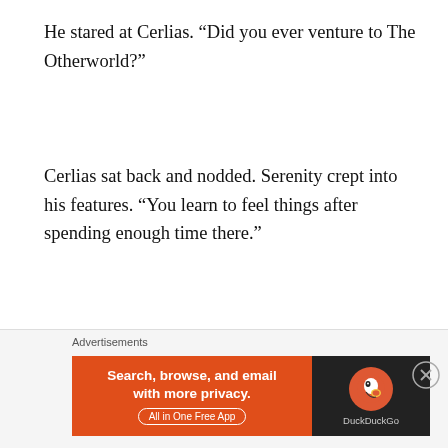He stared at Cerlias. “Did you ever venture to The Otherworld?”
Cerlias sat back and nodded. Serenity crept into his features. “You learn to feel things after spending enough time there.”
“Enough foolishness.” Raeimo slapped Bronherrn’s back. “You are a born leader. I saw it ever since you were a sprout. We are unable to lead, so it is up to you to raise an army and
[Figure (screenshot): DuckDuckGo advertisement banner: orange left panel with text 'Search, browse, and email with more privacy. All in One Free App' and dark right panel with DuckDuckGo duck logo and brand name.]